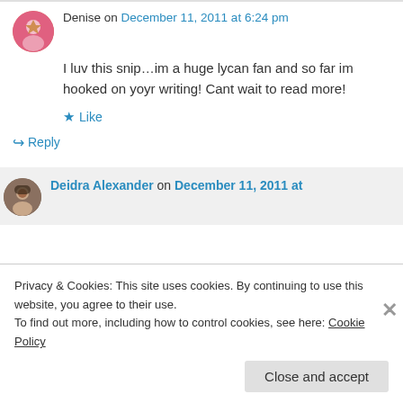Denise on December 11, 2011 at 6:24 pm
I luv this snip...im a huge lycan fan and so far im hooked on yoyr writing! Cant wait to read more!
★ Like
↳ Reply
Deidra Alexander on December 11, 2011 at
Privacy & Cookies: This site uses cookies. By continuing to use this website, you agree to their use.
To find out more, including how to control cookies, see here: Cookie Policy
Close and accept